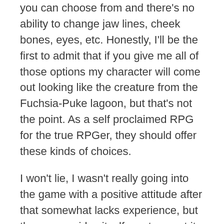you can choose from and there's no ability to change jaw lines, cheek bones, eyes, etc. Honestly, I'll be the first to admit that if you give me all of those options my character will come out looking like the creature from the Fuchsia-Puke lagoon, but that's not the point. As a self proclaimed RPG for the true RPGer, they should offer these kinds of choices.
I won't lie, I wasn't really going into the game with a positive attitude after that somewhat lacks experience, but the game prides itself on story, not its character creation. I will say that, while the character creation itself may have been somewhat disappointing, I was happy with how the writers for the game